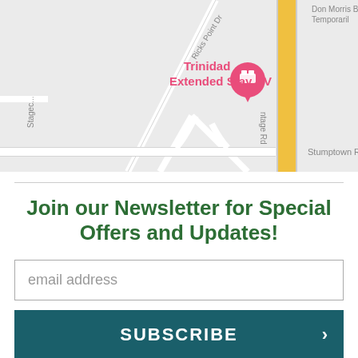[Figure (map): Google Maps screenshot showing Trinidad Extended Stay RV location marker (pink), with streets including Ricks Point Dr, Stagecoach road (partial), Vantage Rd, Stumptown R (partial), Don Morris Bow (partial), a yellow highlighted road (highway), and road intersections on a grey map background.]
Join our Newsletter for Special Offers and Updates!
email address
SUBSCRIBE